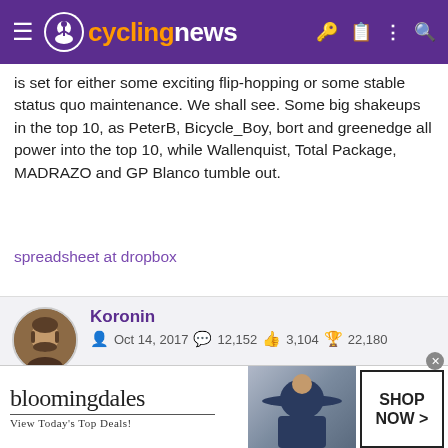cyclingnews
is set for either some exciting flip-flopping or some stable status quo maintenance. We shall see. Some big shakeups in the top 10, as PeterB, Bicycle_Boy, bort and greenedge all power into the top 10, while Wallenquist, Total Package, MADRAZO and GP Blanco tumble out.
spreadsheet at dropbox
Koronin
Oct 14, 2017  12,152  3,104  22,180
[Figure (screenshot): Bloomingdales advertisement banner with woman in hat, Shop Now button]
[Figure (illustration): User achievement/badge icons row]